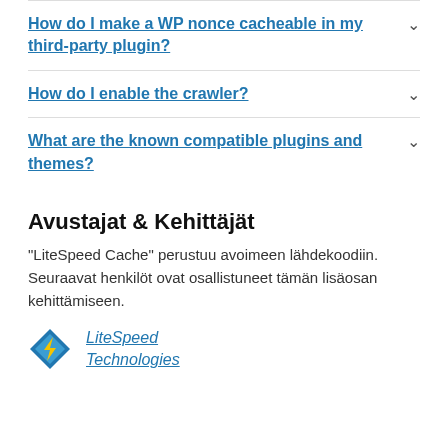How do I make a WP nonce cacheable in my third-party plugin?
How do I enable the crawler?
What are the known compatible plugins and themes?
Avustajat & Kehittäjät
“LiteSpeed Cache” perustuu avoimeen lähdekoodiin. Seuraavat henkilöt ovat osallistuneet tämän lisäosan kehittämiseen.
[Figure (logo): LiteSpeed Technologies logo: a blue diamond with a yellow lightning bolt]
LiteSpeed Technologies